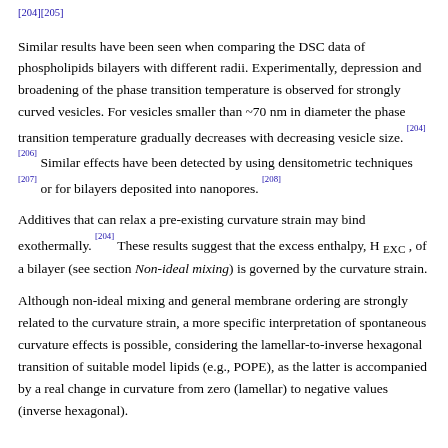[204],[205]
Similar results have been seen when comparing the DSC data of phospholipids bilayers with different radii. Experimentally, depression and broadening of the phase transition temperature is observed for strongly curved vesicles. For vesicles smaller than ~70 nm in diameter the phase transition temperature gradually decreases with decreasing vesicle size. [204],[206] Similar effects have been detected by using densitometric techniques [207] or for bilayers deposited into nanopores. [208]
Additives that can relax a pre-existing curvature strain may bind exothermally. [204] These results suggest that the excess enthalpy, H EXC , of a bilayer (see section Non-ideal mixing) is governed by the curvature strain.
Although non-ideal mixing and general membrane ordering are strongly related to the curvature strain, a more specific interpretation of spontaneous curvature effects is possible, considering the lamellar-to-inverse hexagonal transition of suitable model lipids (e.g., POPE), as the latter is accompanied by a real change in curvature from zero (lamellar) to negative values (inverse hexagonal).